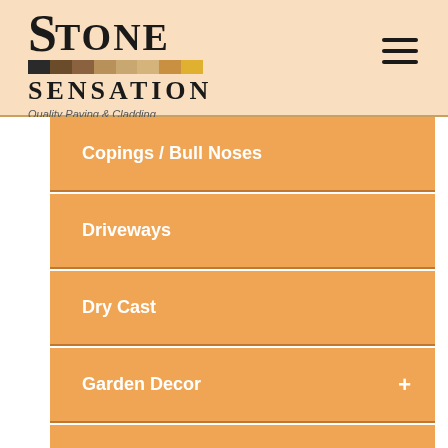[Figure (logo): Stone Sensation logo with colored bar and tagline 'Quality Paving & Cladding']
Copings / Bull Noses
Driveways
Dry Cast
Garden Decor
Garden Rocks & Pebbles
Home Interior
Landscaping